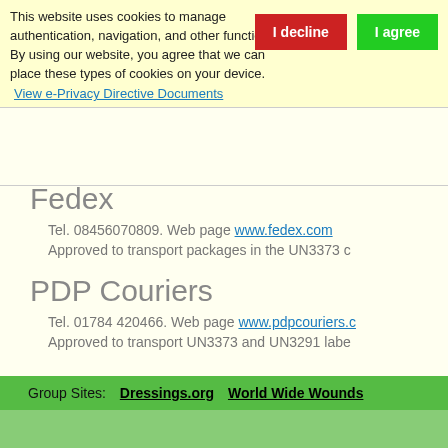This website uses cookies to manage authentication, navigation, and other functions. By using our website, you agree that we can place these types of cookies on your device.
View e-Privacy Directive Documents
Fedex
Tel. 08456070809. Web page www.fedex.com
Approved to transport packages in the UN3373 c
PDP Couriers
Tel. 01784 420466. Web page www.pdpcouriers.c
Approved to transport UN3373 and UN3291 labe
Group Sites: Dressings.org  World Wide Wounds